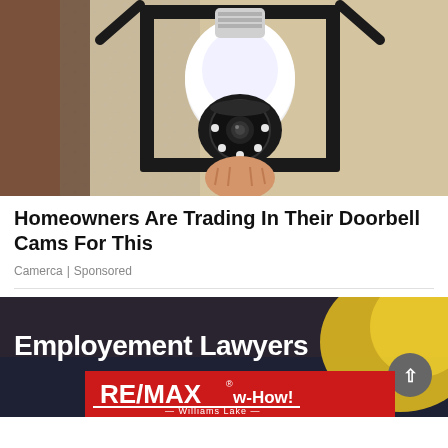[Figure (photo): A security camera shaped like a light bulb being screwed into a black outdoor lantern fixture mounted on a textured stucco wall]
Homeowners Are Trading In Their Doorbell Cams For This
Camerca | Sponsored
[Figure (infographic): Advertisement banner with dark background showing bold white text 'Employement Lawyers' with a yellow shape on the right, and a RE/MAX w-How! Williams Lake red banner overlay at the bottom, plus a grey scroll-to-top circular button]